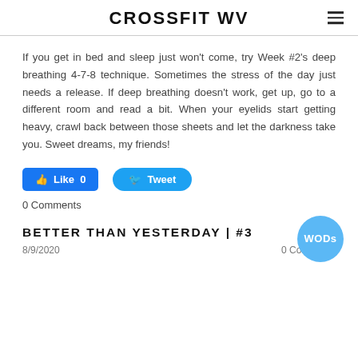CROSSFIT WV
If you get in bed and sleep just won't come, try Week #2's deep breathing 4-7-8 technique. Sometimes the stress of the day just needs a release. If deep breathing doesn't work, get up, go to a different room and read a bit. When your eyelids start getting heavy, crawl back between those sheets and let the darkness take you. Sweet dreams, my friends!
0 Comments
BETTER THAN YESTERDAY | #3
8/9/2020
0 Comments